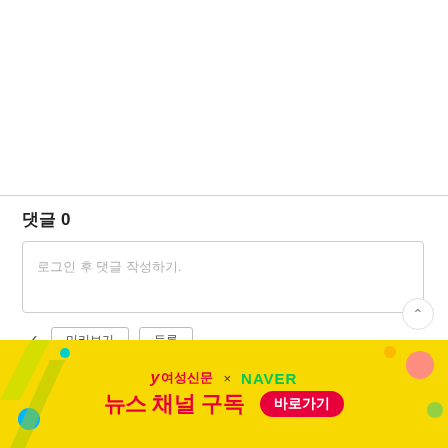댓글 0
로그인 후 댓글 작성하기.
✓ 미리보기 등록
[Figure (infographic): 여성신문 × NAVER 뉴스채널구독 바로가기 promotional banner with yellow background, red and green text, decorative elements]